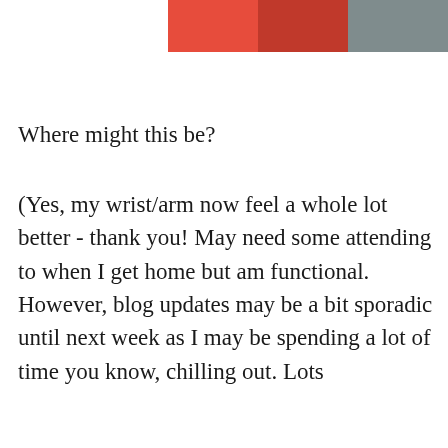[Figure (photo): Partial photo at top of page showing a person wearing red, cropped near the top edge]
Where might this be?
(Yes, my wrist/arm now feel a whole lot better - thank you! May need some attending to when I get home but am functional. However, blog updates may be a bit sporadic until next week as I may be spending a lot of time you know, chilling out. Lots